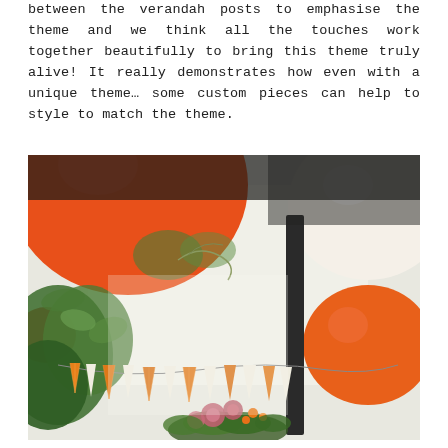between the verandah posts to emphasise the theme and we think all the touches work together beautifully to bring this theme truly alive! It really demonstrates how even with a unique theme… some custom pieces can help to style to match the theme.
[Figure (photo): Outdoor party decoration photo showing large orange and white balloons hanging from a verandah structure, with orange and white bunting/pennant flags strung below, green foliage plants on the left, a dark structural post in the background, and a floral arrangement with pink flowers and orange fruits at the bottom. Bright natural light background.]